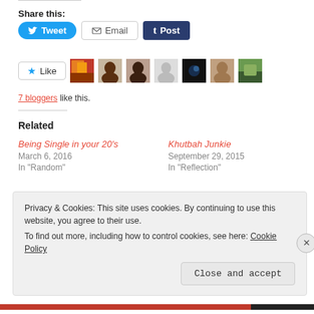Share this:
[Figure (other): Social share buttons: Tweet (Twitter/blue), Email (gray outline), Post (Tumblr/dark blue)]
[Figure (other): Like button with star icon, followed by 7 blogger avatar thumbnails]
7 bloggers like this.
Related
Being Single in your 20's
March 6, 2016
In "Random"
Khutbah Junkie
September 29, 2015
In "Reflection"
Darkness to Light
Privacy & Cookies: This site uses cookies. By continuing to use this website, you agree to their use.
To find out more, including how to control cookies, see here: Cookie Policy
Close and accept